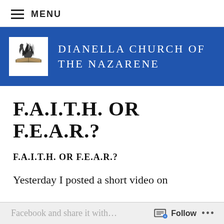MENU
[Figure (logo): Dianella Church of the Nazarene logo — white flame and open book symbol on white background inside blue banner]
DIANELLA CHURCH OF THE NAZARENE
F.A.I.T.H. OR F.E.A.R.?
F.A.I.T.H. OR F.E.A.R.?
Yesterday I posted a short video on
Follow